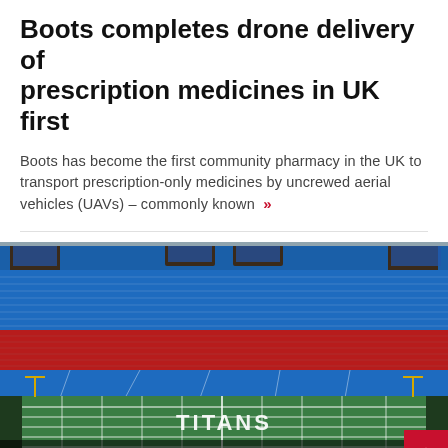Boots completes drone delivery of prescription medicines in UK first
Boots has become the first community pharmacy in the UK to transport prescription-only medicines by uncrewed aerial vehicles (UAVs) – commonly known »
[Figure (photo): Aerial view of Titans NFL stadium with green field showing 'TITANS' logo, red and blue seating sections, and scoreboard towers. Overlaid with 'NEWS | RETAIL TECHNOLOGY' label bar.]
Tennessee Titans Stadium...